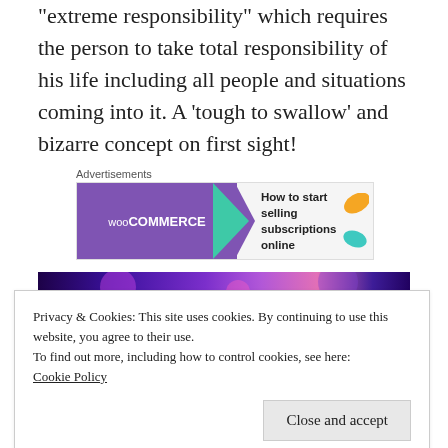“extreme responsibility” which requires the person to take total responsibility of his life including all people and situations coming into it. A ‘tough to swallow’ and bizarre concept on first sight!
[Figure (other): WooCommerce advertisement banner: purple background with WooCommerce logo, teal arrow shape, and text 'How to start selling subscriptions online' with orange and teal leaf decorations]
[Figure (photo): Partial photo with purple/blue/pink bokeh lights, blurred background]
Privacy & Cookies: This site uses cookies. By continuing to use this website, you agree to their use.
To find out more, including how to control cookies, see here:
Cookie Policy

Close and accept